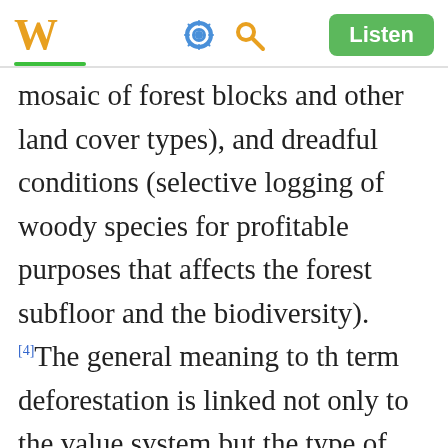W  [gear icon] [search icon]  Listen
mosaic of forest blocks and other land cover types), and dreadful conditions (selective logging of woody species for profitable purposes that affects the forest subfloor and the biodiversity).[4] The general meaning to the term deforestation is linked not only to the value system but the type of measurement designed to assess it. Thus, the same interpretations of deforestation cause noticeable changes in the estimate of forests...